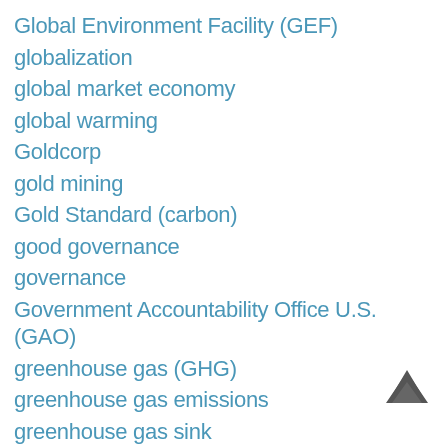Global Environment Facility (GEF)
globalization
global market economy
global warming
Goldcorp
gold mining
Gold Standard (carbon)
good governance
governance
Government Accountability Office U.S. (GAO)
greenhouse gas (GHG)
greenhouse gas emissions
greenhouse gas sink
Group of Twenty Largest Economies (G20)
[Figure (other): Back to top arrow icon]